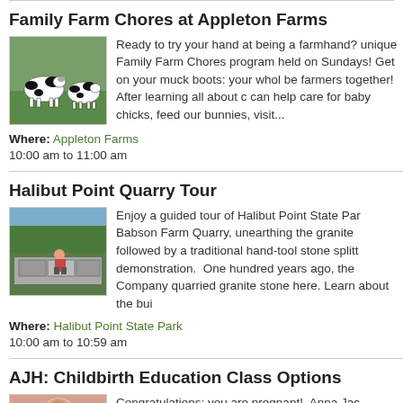Family Farm Chores at Appleton Farms
[Figure (photo): Black and white cows in a green field]
Ready to try your hand at being a farmhand? unique Family Farm Chores program held on Sundays! Get on your muck boots: your whole be farmers together! After learning all about c can help care for baby chicks, feed our bunnies, visit...
Where: Appleton Farms
10:00 am to 11:00 am
Halibut Point Quarry Tour
[Figure (photo): Person sitting at a stone quarry area with trees in background]
Enjoy a guided tour of Halibut Point State Par Babson Farm Quarry, unearthing the granite followed by a traditional hand-tool stone splitt demonstration.  One hundred years ago, the Company quarried granite stone here. Learn about the bui
Where: Halibut Point State Park
10:00 am to 10:59 am
AJH: Childbirth Education Class Options
[Figure (photo): Close-up photo related to childbirth/pregnancy]
Congratulations: you are pregnant!  Anna Jac Center class is for mothers and partners d...